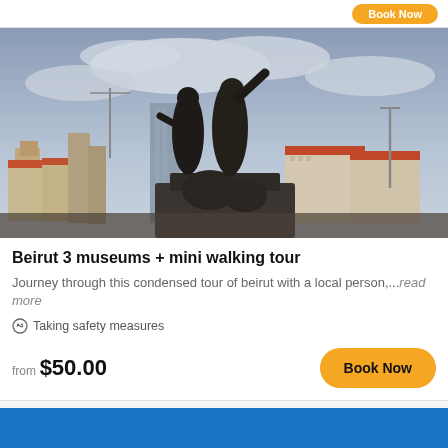[Figure (photo): Bronze statues/monument in foreground with Beirut city skyline and cloudy sky in background]
Beirut 3 museums + mini walking tour
Journey through this condensed tour of beirut with a local person,...read more
Taking safety measures
from $50.00
Book Now